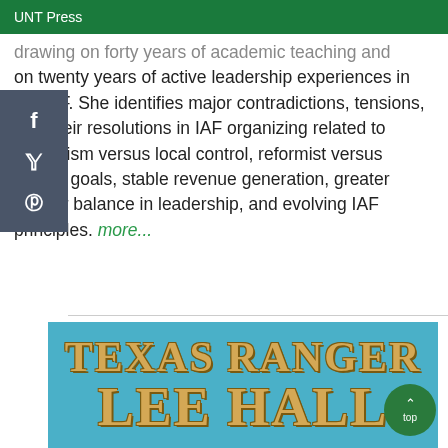UNT Press
drawing on forty years of academic teaching and on twenty years of active leadership experiences in the IAF. She identifies major contradictions, tensions, and their resolutions in IAF organizing related to centralism versus local control, reformist versus radical goals, stable revenue generation, greater gender balance in leadership, and evolving IAF principles. more...
[Figure (screenshot): Book cover showing 'TEXAS RANGER LEE HALL' text on a blue background with decorative Western-style lettering in gold/tan color]